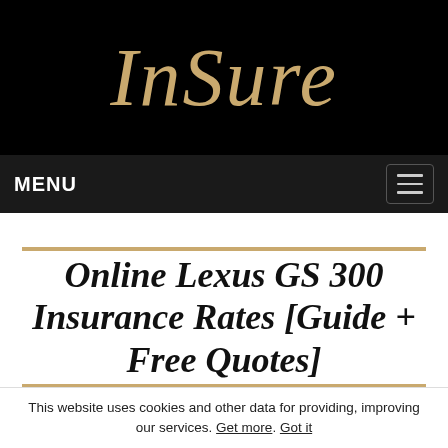InSure
MENU
Online Lexus GS 300 Insurance Rates [Guide + Free Quotes]
Key takeaways:
Full coverage costs around $1,474 a year or $123
This website uses cookies and other data for providing, improving our services. Get more. Got it